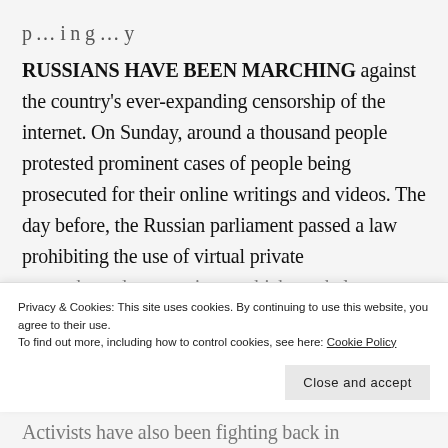p…ing…y
RUSSIANS HAVE BEEN MARCHING against the country's ever-expanding censorship of the internet. On Sunday, around a thousand people protested prominent cases of people being prosecuted for their online writings and videos. The day before, the Russian parliament passed a law prohibiting the use of virtual private networks and anonymisers, which can help
Privacy & Cookies: This site uses cookies. By continuing to use this website, you agree to their use.
To find out more, including how to control cookies, see here: Cookie Policy
Close and accept
Activists have also been fighting back in